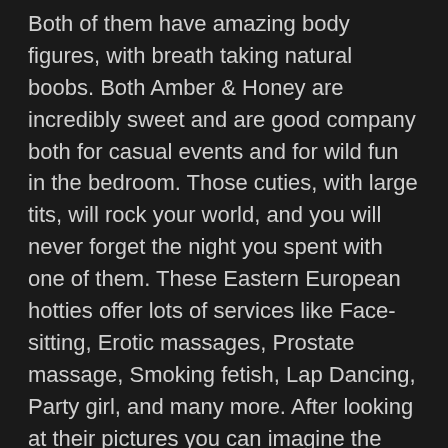Both of them have amazing body figures, with breath taking natural boobs. Both Amber & Honey are incredibly sweet and are good company both for casual events and for wild fun in the bedroom. Those cuties, with large tits, will rock your world, and you will never forget the night you spent with one of them. These Eastern European hotties offer lots of services like Face-sitting, Erotic massages, Prostate massage, Smoking fetish, Lap Dancing, Party girl, and many more. After looking at their pictures you can imagine the feeling of one of them sitting on your face while you have the taste of her love juices.
Services like Rimming, Body to body massage, and Filming with a mask are paid extra, but they are